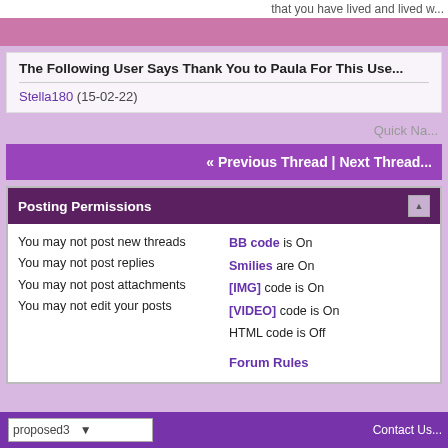that you have lived and lived w...
The Following User Says Thank You to Paula For This Use...
Stella180 (15-02-22)
Quick Na...
« Previous Thread | Next Thread...
Posting Permissions
You may not post new threads
You may not post replies
You may not post attachments
You may not edit your posts
BB code is On
Smilies are On
[IMG] code is On
[VIDEO] code is On
HTML code is Off
Forum Rules
proposed3  Contact Us...